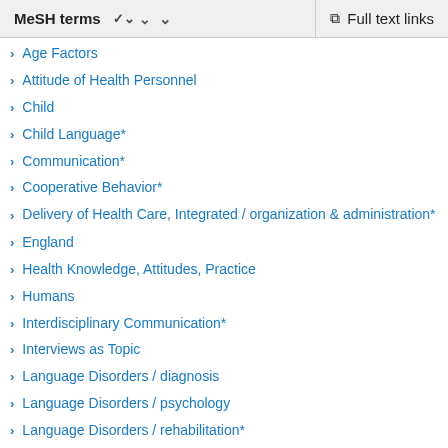MeSH terms | Full text links
Age Factors
Attitude of Health Personnel
Child
Child Language*
Communication*
Cooperative Behavior*
Delivery of Health Care, Integrated / organization & administration*
England
Health Knowledge, Attitudes, Practice
Humans
Interdisciplinary Communication*
Interviews as Topic
Language Disorders / diagnosis
Language Disorders / psychology
Language Disorders / rehabilitation*
Patient Care Team / organization & administration*